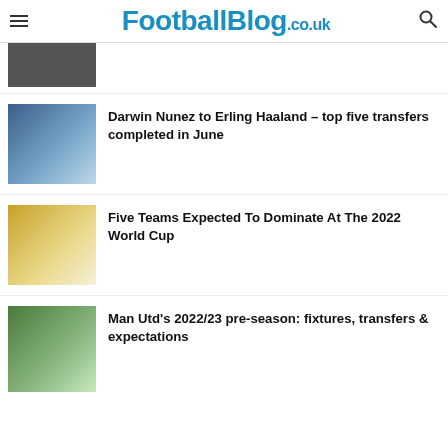FootballBlog.co.uk
[Figure (photo): Partial article thumbnail at top, cropped]
Darwin Nunez to Erling Haaland – top five transfers completed in June
Five Teams Expected To Dominate At The 2022 World Cup
Man Utd's 2022/23 pre-season: fixtures, transfers & expectations